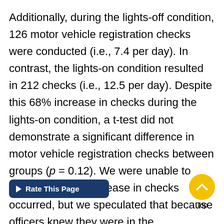Additionally, during the lights-off condition, 126 motor vehicle registration checks were conducted (i.e., 7.4 per day). In contrast, the lights-on condition resulted in 212 checks (i.e., 12.5 per day). Despite this 68% increase in checks during the lights-on condition, a t-test did not demonstrate a significant difference in motor vehicle registration checks between groups (p = 0.12). We were unable to answer why the increase in checks occurred, but we speculated that because officers knew they were in the experimental condition, they were adjusting their behavior to inflate their activity accordingly. Similarly, despite double the number of daily average arrests during the lights-on compared with the lights-off condition, a t-test demonstrated no significant difference in arr